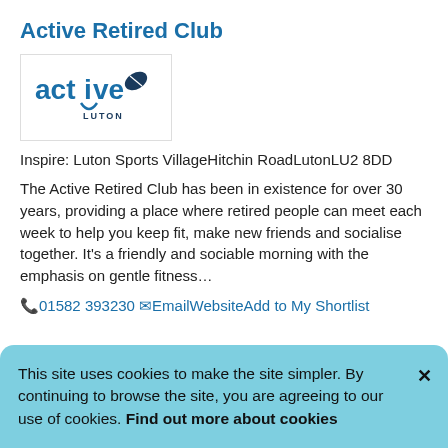Active Retired Club
[Figure (logo): Active Luton logo — stylized 'active' text in blue with rugby ball icon and 'LUTON' underneath]
Inspire: Luton Sports VillageHitchin RoadLutonLU2 8DD
The Active Retired Club has been in existence for over 30 years, providing a place where retired people can meet each week to help you keep fit, make new friends and socialise together. It's a friendly and sociable morning with the emphasis on gentle fitness…
📞01582 393230 ✉Email🌐WebsiteAdd to My Shortlist
This site uses cookies to make the site simpler. By continuing to browse the site, you are agreeing to our use of cookies. Find out more about cookies